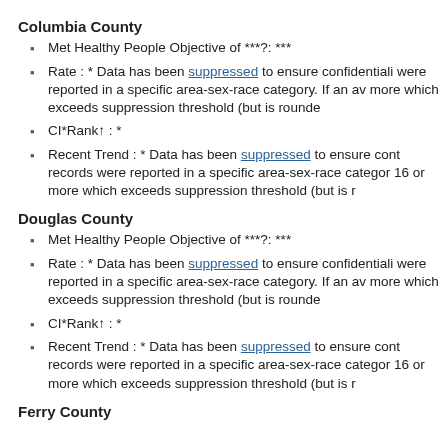Columbia County
Met Healthy People Objective of ***?: ***
Rate : * Data has been suppressed to ensure confidentiali were reported in a specific area-sex-race category. If an av more which exceeds suppression threshold (but is rounde
CI*Rank↑ : *
Recent Trend : * Data has been suppressed to ensure cont records were reported in a specific area-sex-race categor 16 or more which exceeds suppression threshold (but is r
Douglas County
Met Healthy People Objective of ***?: ***
Rate : * Data has been suppressed to ensure confidentiali were reported in a specific area-sex-race category. If an av more which exceeds suppression threshold (but is rounde
CI*Rank↑ : *
Recent Trend : * Data has been suppressed to ensure cont records were reported in a specific area-sex-race categor 16 or more which exceeds suppression threshold (but is r
Ferry County